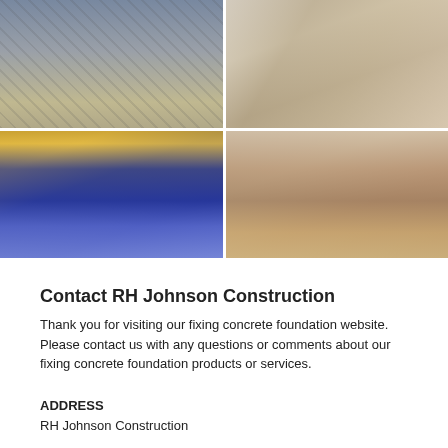[Figure (photo): Four construction-related photos arranged in a 2x2 grid: top-left shows workers at a construction site with steel framing; top-right shows a hand holding a ruler or measuring tool against wood framing; bottom-left shows a gloved hand applying sealant or caulk around a window/door frame; bottom-right shows a person spraying a floor in a room with flooding.]
Contact RH Johnson Construction
Thank you for visiting our fixing concrete foundation website. Please contact us with any questions or comments about our fixing concrete foundation products or services.
ADDRESS
RH Johnson Construction